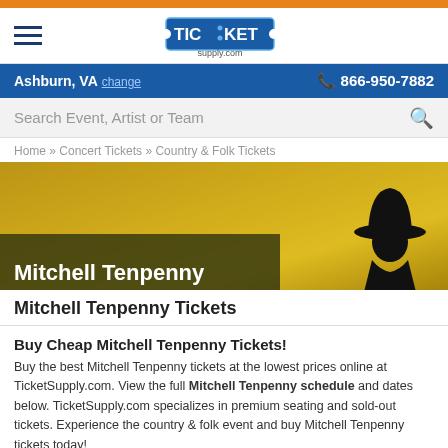TicketSupply.com — Ashburn, VA — 866-950-7882
[Figure (screenshot): TicketSupply.com logo with TIC:KET in stylized blue letters and 'supply.com' below]
Ashburn, VA change — 866-950-7882
Search Event, Artist or Team
Home » Concert Tickets » Country & Folk Tickets
[Figure (photo): Hero banner with golden/yellow textured background and silhouette of a person wearing a cowboy hat on the right side. Text overlay reads 'Mitchell Tenpenny']
Mitchell Tenpenny Tickets
Buy Cheap Mitchell Tenpenny Tickets!
Buy the best Mitchell Tenpenny tickets at the lowest prices online at TicketSupply.com. View the full Mitchell Tenpenny schedule and dates below. TicketSupply.com specializes in premium seating and sold-out tickets. Experience the country & folk event and buy Mitchell Tenpenny tickets today!
Events in the next 150 days in your area